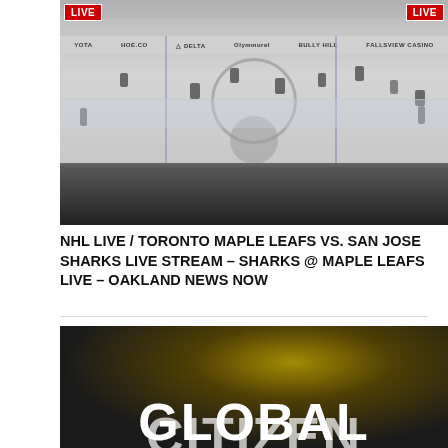[Figure (photo): Live NHL hockey game broadcast screenshot showing ice rink with players during Toronto Maple Leafs vs San Jose Sharks game. Two red LIVE badges visible in upper left and upper right corners. Arena boards show sponsor ads including DELTA, BULLY HILL.]
NHL LIVE / TORONTO MAPLE LEAFS VS. SAN JOSE SHARKS LIVE STREAM – SHARKS @ MAPLE LEAFS LIVE – OAKLAND NEWS NOW
[Figure (photo): Dark background image with large white bold text reading GLOBAL CITIZEN (partially visible), with warm yellow-green light glow in upper center area.]